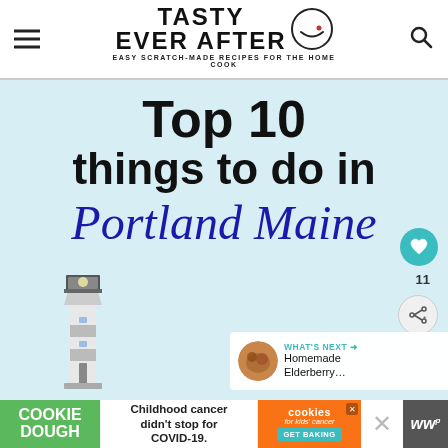TASTY EVER AFTER — EASY SCRATCH-MADE RECIPES FOR THE HOME COOK
[Figure (infographic): Article header image with light blue background, bold black text 'Top 10 things to do in' and italic navy script 'Portland Maine', with a lighthouse photo at the bottom left]
[Figure (infographic): Advertisement bar: Cookie Dough green section, 'Childhood cancer didn't stop for COVID-19.' text, Cookies for Kids' Cancer orange badge with GET BAKING button, close X button, and WW logo]